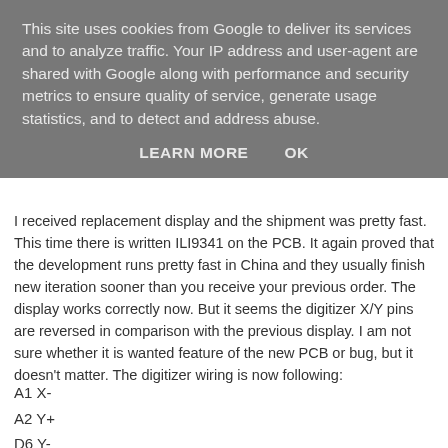This site uses cookies from Google to deliver its services and to analyze traffic. Your IP address and user-agent are shared with Google along with performance and security metrics to ensure quality of service, generate usage statistics, and to detect and address abuse.
LEARN MORE    OK
I received replacement display and the shipment was pretty fast. This time there is written ILI9341 on the PCB. It again proved that the development runs pretty fast in China and they usually finish new iteration sooner than you receive your previous order. The display works correctly now. But it seems the digitizer X/Y pins are reversed in comparison with the previous display. I am not sure whether it is wanted feature of the new PCB or bug, but it doesn't matter. The digitizer wiring is now following:
A1 X-
A2 Y+
D6 Y-
D7 X+